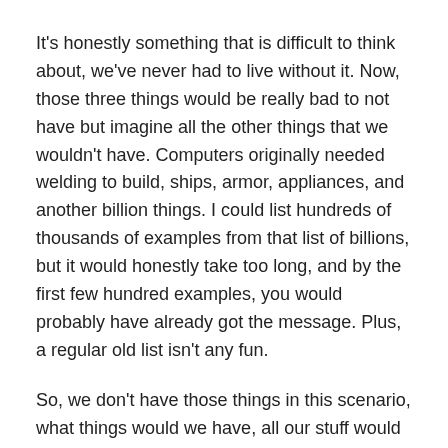It's honestly something that is difficult to think about, we've never had to live without it. Now, those three things would be really bad to not have but imagine all the other things that we wouldn't have. Computers originally needed welding to build, ships, armor, appliances, and another billion things. I could list hundreds of thousands of examples from that list of billions, but it would honestly take too long, and by the first few hundred examples, you would probably have already got the message. Plus, a regular old list isn't any fun.
So, we don't have those things in this scenario, what things would we have, all our stuff would be gone, that list would be gone. So, that alone would not be great, but let's look to the future.
How about a new hypothetical, let's say that right now, we